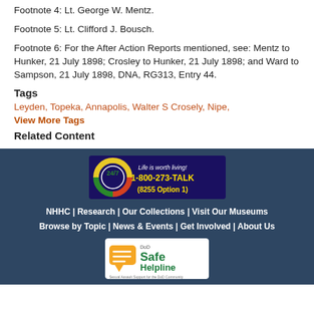Footnote 4: Lt. George W. Mentz.
Footnote 5: Lt. Clifford J. Bousch.
Footnote 6: For the After Action Reports mentioned, see: Mentz to Hunker, 21 July 1898; Crosley to Hunker, 21 July 1898; and Ward to Sampson, 21 July 1898, DNA, RG313, Entry 44.
Tags
Leyden, Topeka, Annapolis, Walter S Crosely, Nipe,
View More Tags
Related Content
[Figure (infographic): Life is worth living! 1-800-273-TALK (8255 Option 1) suicide prevention hotline banner with 24/7 life ring logo]
NHHC | Research | Our Collections | Visit Our Museums
Browse by Topic | News & Events | Get Involved | About Us
[Figure (logo): DoD Safe Helpline - Sexual Assault Support for the DoD Community logo]